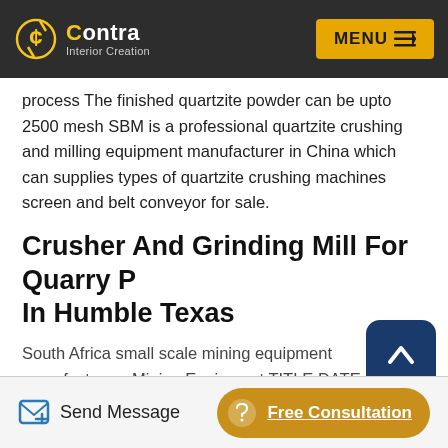Contra Interior Creation — MENU
process The finished quartzite powder can be upto 2500 mesh SBM is a professional quartzite crushing and milling equipment manufacturer in China which can supplies types of quartzite crushing machines screen and belt conveyor for sale.
Crusher And Grinding Mill For Quarry Plant In Humble Texas
South Africa small scale mining equipment manufacturers Mining Equipment TITLE DATE July 20 2012 crusher and grinding mill for quarry plant in Humble Texas United States.
Send Message   Free Consultation